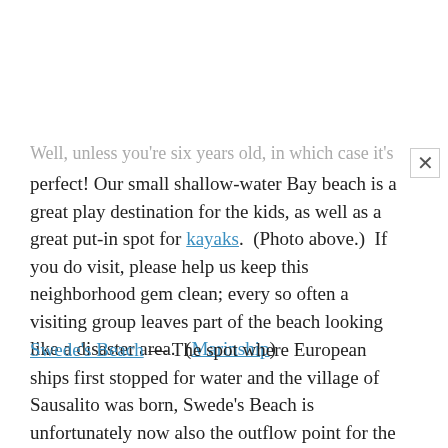Well, unless you're six years old, in which case it's perfect! Our small shallow-water Bay beach is a great play destination for the kids, as well as a great put-in spot for kayaks. (Photo above.) If you do visit, please help us keep this neighborhood gem clean; every so often a visiting group leaves part of the beach looking like a disaster area. (Marinship)
Swede's Beach — The spot where European ships first stopped for water and the village of Sausalito was born, Swede's Beach is unfortunately now also the outflow point for the local sewage pumping plant. Some folks play in the clear, legally-pumped fully-processed stream water (the same kind used to irrigate many large landscape areas in California) with their kids and dogs